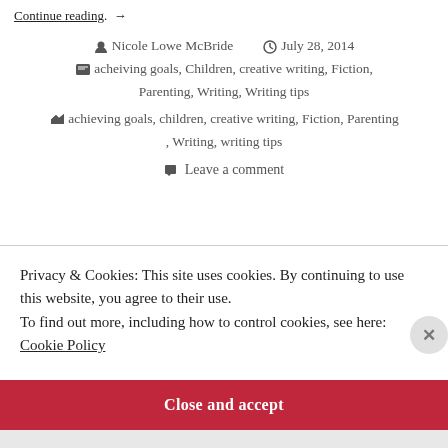Continue reading. →
Nicole Lowe McBride   July 28, 2014
acheiving goals, Children, creative writing, Fiction, Parenting, Writing, Writing tips
achieving goals, children, creative writing, Fiction, Parenting, Writing, writing tips
Leave a comment
Privacy & Cookies: This site uses cookies. By continuing to use this website, you agree to their use. To find out more, including how to control cookies, see here: Cookie Policy
Close and accept